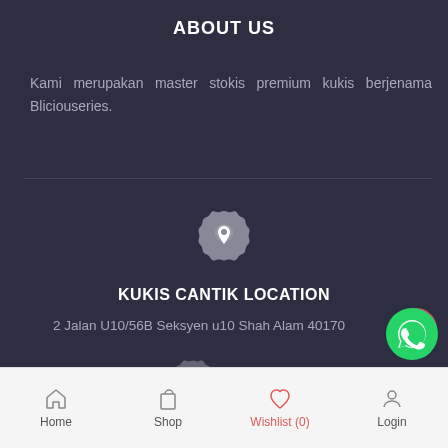ABOUT US
Kami merupakan master stokis premium kukis berjenama Bliciouseries.
[Figure (illustration): Scalloped circle badge with a map pin / location icon inside]
KUKIS CANTIK LOCATION
2 Jalan U10/56B Seksyen u10 Shah Alam 40170
[Figure (illustration): Scroll-to-top button: circle with upward chevron, red/pink outline]
[Figure (illustration): WhatsApp floating button: green circle with WhatsApp phone icon]
[Figure (illustration): Partial scalloped circle badge at bottom, partially visible]
Home   Shop   Wishlist (0)   Login